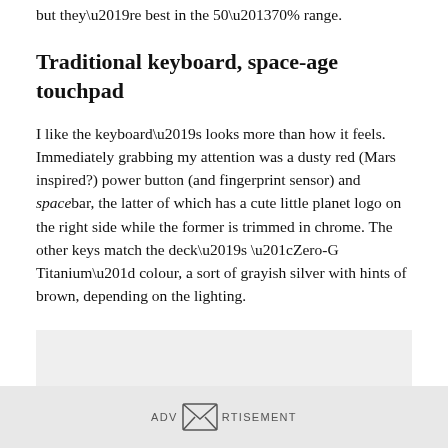but they’re best in the 50–70% range.
Traditional keyboard, space-age touchpad
I like the keyboard’s looks more than how it feels. Immediately grabbing my attention was a dusty red (Mars inspired?) power button (and fingerprint sensor) and spacebar, the latter of which has a cute little planet logo on the right side while the former is trimmed in chrome. The other keys match the deck’s “Zero-G Titanium” colour, a sort of grayish silver with hints of brown, depending on the lighting.
[Figure (other): Advertisement placeholder box with ADVERTISEMENT label]
ADVERTISEMENT